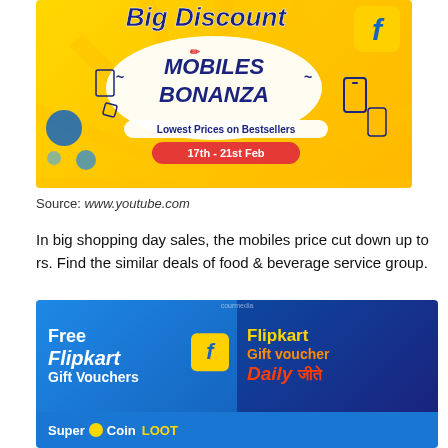[Figure (illustration): Flipkart Mobiles Bonanza advertisement banner on yellow sunburst background. Shows 'Big Discount' text, Flipkart logo, speech bubble with 'MOBILES BONANZA', 'Lowest Prices on Bestsellers', and date badge '17th - 21st Feb'. Blue circles and phone icons decorate the sides.]
Source: www.youtube.com
In big shopping day sales, the mobiles price cut down up to rs. Find the similar deals of food & beverage service group.
[Figure (illustration): Two Flipkart promotional images side by side. Left: blue background with 'Free Flipkart Gift Vouchers' text and Flipkart bag logo. Right: dark blue background with 'Flipkart Gift voucher Daily जीते' in colorful text. Bottom strip shows 'SuperCoin LOOT' branding.]